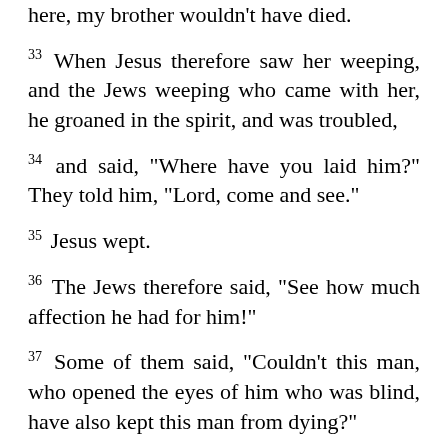here, my brother wouldn’t have died.
33 When Jesus therefore saw her weeping, and the Jews weeping who came with her, he groaned in the spirit, and was troubled,
34 and said, “Where have you laid him?” They told him, “Lord, come and see.”
35 Jesus wept.
36 The Jews therefore said, “See how much affection he had for him!”
37 Some of them said, “Couldn’t this man, who opened the eyes of him who was blind, have also kept this man from dying?”
38 Jesus therefore, again groaning in himself, came to the tomb. Now it was a cave, and a